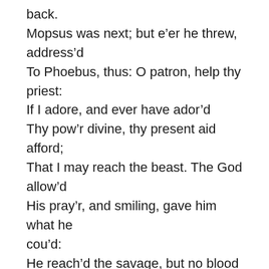back.
Mopsus was next; but e'er he threw, address'd
To Phoebus, thus: O patron, help thy priest:
If I adore, and ever have ador'd
Thy pow'r divine, thy present aid afford;
That I may reach the beast. The God allow'd
His pray'r, and smiling, gave him what he cou'd:
He reach'd the savage, but no blood he drew:
Dian unarm'd the javelin, as it flew.
This chaf'd the boar, his nostrils flames expire,
And his red eye-balls roul with living fire.
Whirl'd from a sling, or from an engine thrown,